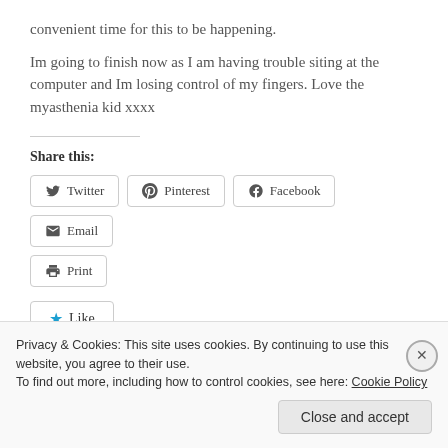convenient time for this to be happening.
Im going to finish now as I am having trouble siting at the computer and Im losing control of my fingers. Love the myasthenia kid xxxx
Share this:
[Figure (screenshot): Share buttons: Twitter, Pinterest, Facebook, Email, Print]
[Figure (screenshot): Like button with blue star]
Privacy & Cookies: This site uses cookies. By continuing to use this website, you agree to their use. To find out more, including how to control cookies, see here: Cookie Policy
Close and accept